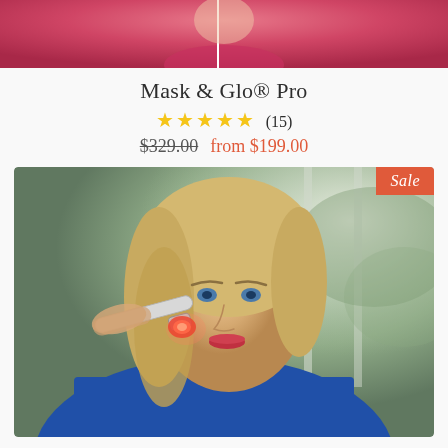[Figure (photo): Partial photo of a person in a pink/red top with white earphone cord visible, cropped at the top of the page]
Mask & Glo® Pro
★★★★★ (15)
$329.00 from $199.00
[Figure (photo): Photo of a blonde woman using a red light therapy wand device on her face near her mouth, wearing a striped blue/white/red top, sitting near a window with green outdoor background. A red 'Sale' badge is in the top-right corner of the image.]